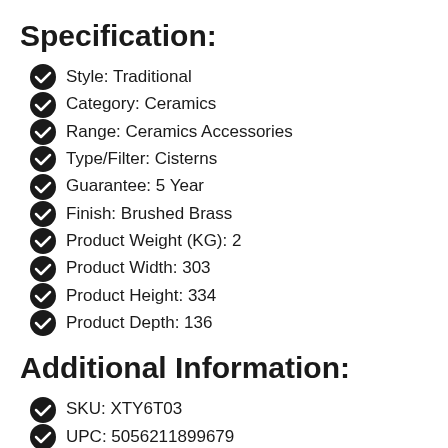Specification:
Style: Traditional
Category: Ceramics
Range: Ceramics Accessories
Type/Filter: Cisterns
Guarantee: 5 Year
Finish: Brushed Brass
Product Weight (KG): 2
Product Width: 303
Product Height: 334
Product Depth: 136
Additional Information:
SKU: XTY6T03
UPC: 5056211899679